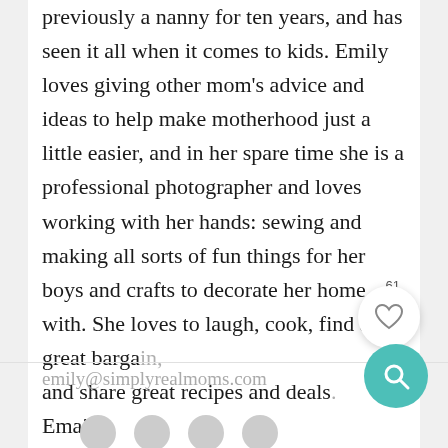previously a nanny for ten years, and has seen it all when it comes to kids. Emily loves giving other mom's advice and ideas to help make motherhood just a little easier, and in her spare time she is a professional photographer and loves working with her hands: sewing and making all sorts of fun things for her boys and crafts to decorate her home with. She loves to laugh, cook, find a great bargain, and share great recipes and deals. Email:
emily@simplyrealmoms.com